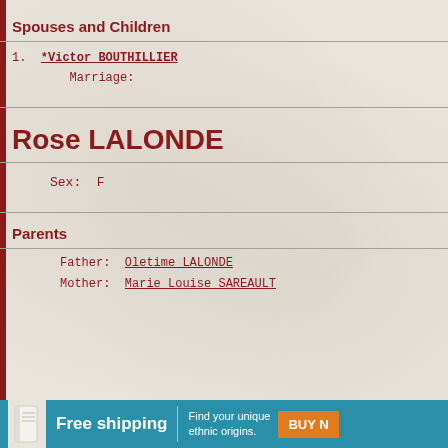Spouses and Children
1.  *Victor BOUTHILLIER
        Marriage:
Rose LALONDE
Sex:  F
Parents
Father:  Oletime LALONDE
Mother:  Marie Louise SAREAULT
[Figure (other): Advertisement banner: Free shipping. Find your unique ethnic origins. BUY N...]